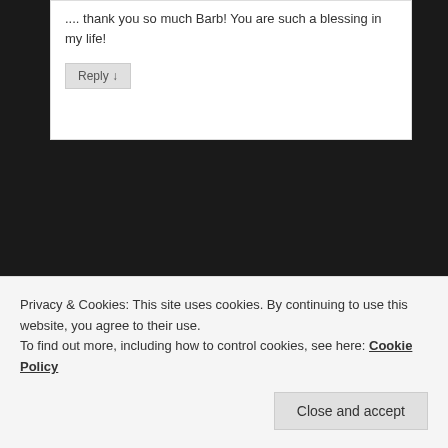Awww, thank you so much Barb! You are such a blessing in my life!
Reply ↓
Mark in Sumpter on June 11, 2013 at 2:37 pm said:
very good read Anne….I can relate to your experiences as I suffered a stroke a few years
Privacy & Cookies: This site uses cookies. By continuing to use this website, you agree to their use.
To find out more, including how to control cookies, see here: Cookie Policy
Close and accept